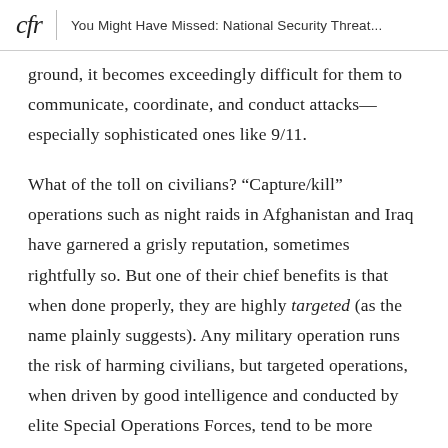cfr | You Might Have Missed: National Security Threat...
ground, it becomes exceedingly difficult for them to communicate, coordinate, and conduct attacks—especially sophisticated ones like 9/11.
What of the toll on civilians? “Capture/kill” operations such as night raids in Afghanistan and Iraq have garnered a grisly reputation, sometimes rightfully so. But one of their chief benefits is that when done properly, they are highly targeted (as the name plainly suggests). Any military operation runs the risk of harming civilians, but targeted operations, when driven by good intelligence and conducted by elite Special Operations Forces, tend to be more surgical and precise than conventional